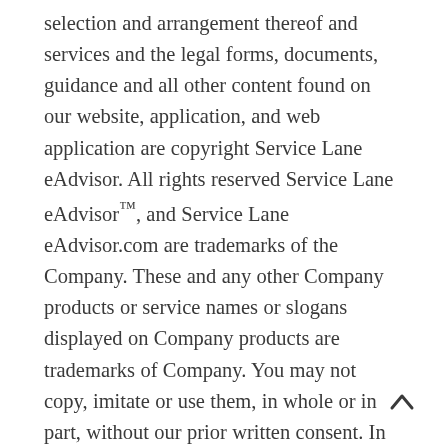selection and arrangement thereof and services and the legal forms, documents, guidance and all other content found on our website, application, and web application are copyright Service Lane eAdvisor. All rights reserved Service Lane eAdvisor™, and Service Lane eAdvisor.com are trademarks of the Company. These and any other Company products or service names or slogans displayed on Company products are trademarks of Company. You may not copy, imitate or use them, in whole or in part, without our prior written consent. In addition, the look and feel of Company is the service mark, trademark and/or trade dress of the Company and you may not copy, imitate or use